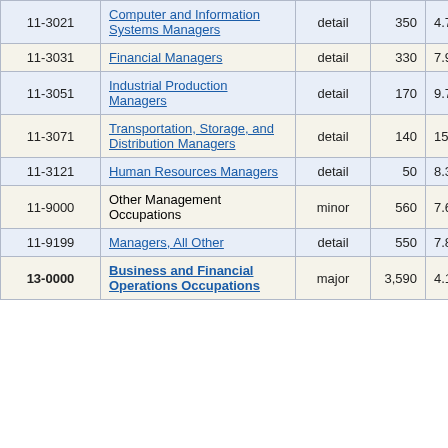| Code | Occupation | Level | Employment | % Change |
| --- | --- | --- | --- | --- |
| 11-3021 | Computer and Information Systems Managers | detail | 350 | 4.7% |
| 11-3031 | Financial Managers | detail | 330 | 7.9% |
| 11-3051 | Industrial Production Managers | detail | 170 | 9.7% |
| 11-3071 | Transportation, Storage, and Distribution Managers | detail | 140 | 15.5% |
| 11-3121 | Human Resources Managers | detail | 50 | 8.3% |
| 11-9000 | Other Management Occupations | minor | 560 | 7.6% |
| 11-9199 | Managers, All Other | detail | 550 | 7.8% |
| 13-0000 | Business and Financial Operations Occupations | major | 3,590 | 4.1% |